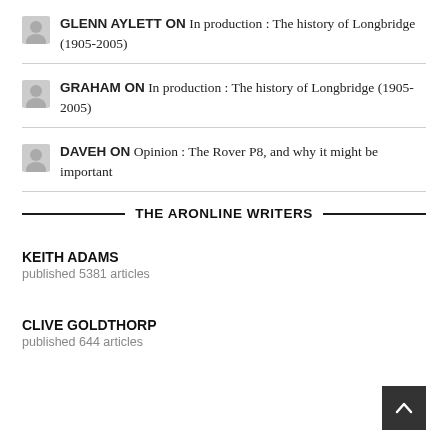GLENN AYLETT ON In production : The history of Longbridge (1905-2005)
GRAHAM ON In production : The history of Longbridge (1905-2005)
DAVEH ON Opinion : The Rover P8, and why it might be important
THE ARONLINE WRITERS
KEITH ADAMS
published 5381 articles
CLIVE GOLDTHORP
published 644 articles